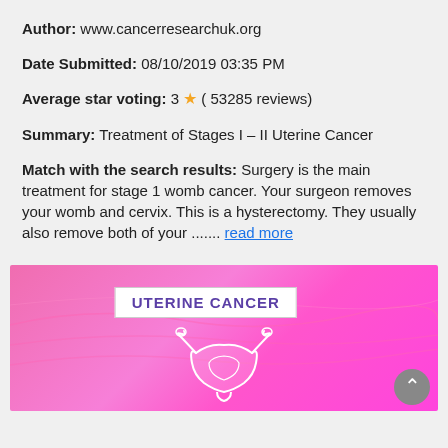Author: www.cancerresearchuk.org
Date Submitted: 08/10/2019 03:35 PM
Average star voting: 3 ★ ( 53285 reviews)
Summary: Treatment of Stages I – II Uterine Cancer
Match with the search results: Surgery is the main treatment for stage 1 womb cancer. Your surgeon removes your womb and cervix. This is a hysterectomy. They usually also remove both of your ....... read more
[Figure (illustration): Pink gradient background with 'UTERINE CANCER' label and a white outline illustration of a uterus. A grey scroll-to-top button is in the bottom right.]